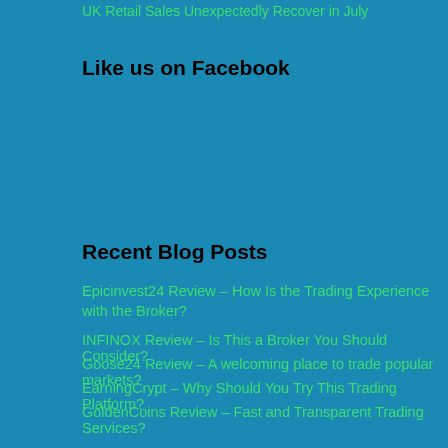UK Retail Sales Unexpectedly Recover in July
Like us on Facebook
Recent Blog Posts
Epicinvest24 Review – How Is the Trading Experience with the Broker?
INFINOX Review – Is This a Broker You Should Consider?
Goose24 Review – A welcoming place to trade popular markets?
EarningCrypt – Why Should You Try This Trading Platform?
GoldenCoins Review – Fast and Transparent Trading Services?
Contacts
[Figure (other): Social media icons: Twitter, Google+, Mail, YouTube, LinkedIn, Skype]